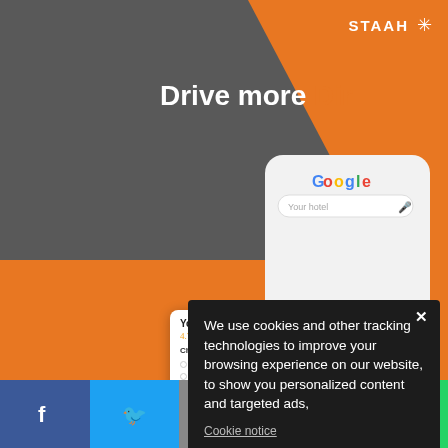[Figure (screenshot): STAAH website screenshot with gray background, orange triangle shape, Google search phone mockup showing 'Your hotel' with booking options, and a hotel card with check availability options]
Drive more Dir
We use cookies and other tracking technologies to improve your browsing experience on our website, to show you personalized content and targeted ads,
Cookie notice
I agree
SUBSCRIBE TO OUR NEWSLETTER FOR WEEKLY UPDATES
[Figure (infographic): Social share bar with Facebook, Twitter, Email, LinkedIn, and WhatsApp buttons]